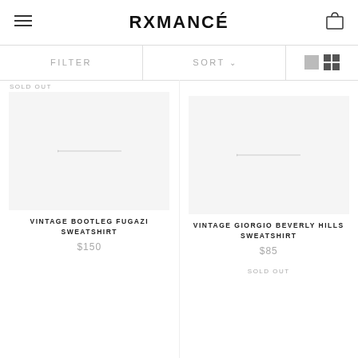RXMANCÉ
FILTER
SORT
SOLD OUT
VINTAGE BOOTLEG FUGAZI SWEATSHIRT
$150
VINTAGE GIORGIO BEVERLY HILLS SWEATSHIRT
$85
SOLD OUT